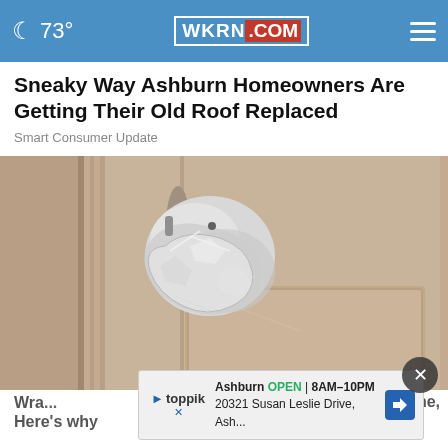73° WKRN.COM
Sneaky Way Ashburn Homeowners Are Getting Their Old Roof Replaced
Smart Consumer Update
[Figure (photo): A door knob wrapped in aluminum foil on a wooden door]
Ashburn OPEN 8AM–10PM 20321 Susan Leslie Drive, Ash...
Wrap... ne, Here's why